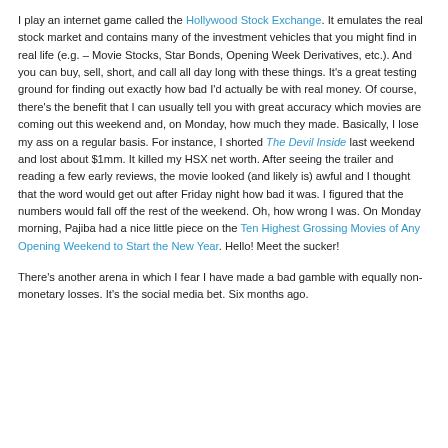I play an internet game called the Hollywood Stock Exchange. It emulates the real stock market and contains many of the investment vehicles that you might find in real life (e.g. – Movie Stocks, Star Bonds, Opening Week Derivatives, etc.). And you can buy, sell, short, and call all day long with these things. It's a great testing ground for finding out exactly how bad I'd actually be with real money. Of course, there's the benefit that I can usually tell you with great accuracy which movies are coming out this weekend and, on Monday, how much they made. Basically, I lose my ass on a regular basis. For instance, I shorted The Devil Inside last weekend and lost about $1mm. It killed my HSX net worth. After seeing the trailer and reading a few early reviews, the movie looked (and likely is) awful and I thought that the word would get out after Friday night how bad it was. I figured that the numbers would fall off the rest of the weekend. Oh, how wrong I was. On Monday morning, Pajiba had a nice little piece on the Ten Highest Grossing Movies of Any Opening Weekend to Start the New Year. Hello! Meet the sucker!
There's another arena in which I fear I have made a bad gamble with equally non-monetary losses. It's the social media bet. Six months ago.